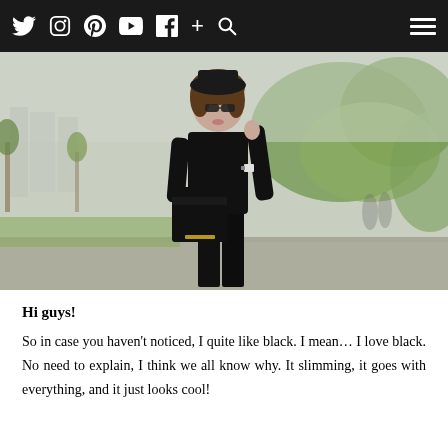Twitter Instagram Pinterest YouTube Facebook + Search [menu]
[Figure (photo): A woman dressed entirely in black (black long-sleeve top, black pants, black hat, black handbag) walking in a park-like setting with trees and architecture in background.]
Hi guys!
So in case you haven't noticed, I quite like black. I mean… I love black. No need to explain, I think we all know why. It slimming, it goes with everything, and it just looks cool!